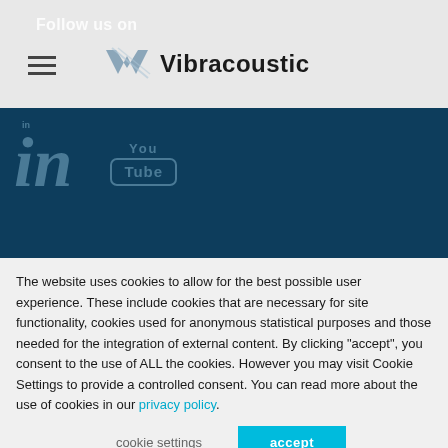Follow us on  Vibracoustic
[Figure (logo): Vibracoustic logo with stylized V chevron mark and company name]
[Figure (illustration): LinkedIn and YouTube social media icons on dark blue background]
Contact us
Jobs & Career
The website uses cookies to allow for the best possible user experience. These include cookies that are necessary for site functionality, cookies used for anonymous statistical purposes and those needed for the integration of external content. By clicking "accept", you consent to the use of ALL the cookies. However you may visit Cookie Settings to provide a controlled consent. You can read more about the use of cookies in our privacy policy.
cookie settings
accept